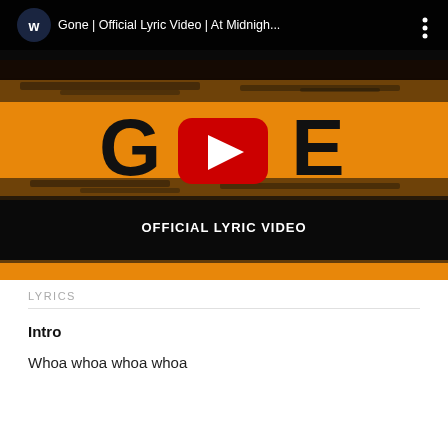[Figure (screenshot): YouTube video thumbnail/player showing 'Gone | Official Lyric Video | At Midnigh...' with a dark top bar showing a W logo avatar and menu icon, an orange and black textured background with large text 'GONE' and a YouTube play button overlay in the center, and 'OFFICIAL LYRIC VIDEO' text below]
LYRICS
Intro
Whoa whoa whoa whoa